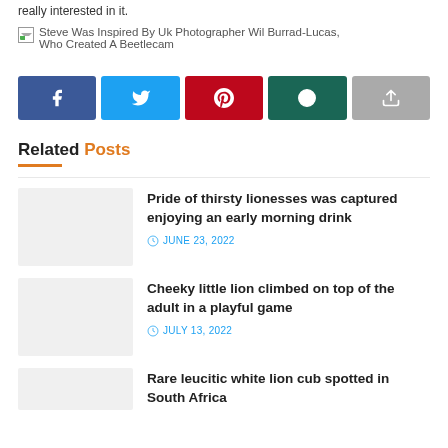really interested in it.
[Figure (photo): Image placeholder: Steve Was Inspired By Uk Photographer Wil Burrad-Lucas, Who Created A Beetlecam]
[Figure (infographic): Social share buttons: Facebook, Twitter, Pinterest, WhatsApp, Share]
Related Posts
Pride of thirsty lionesses was captured enjoying an early morning drink
JUNE 23, 2022
Cheeky little lion climbed on top of the adult in a playful game
JULY 13, 2022
Rare leucitic white lion cub spotted in South Africa